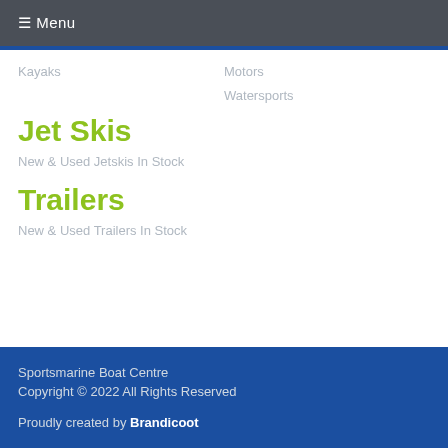☰ Menu
Kayaks
Motors
Watersports
Jet Skis
New & Used Jetskis In Stock
Trailers
New & Used Trailers In Stock
Sportsmarine Boat Centre
Copyright © 2022 All Rights Reserved

Proudly created by Brandicoot